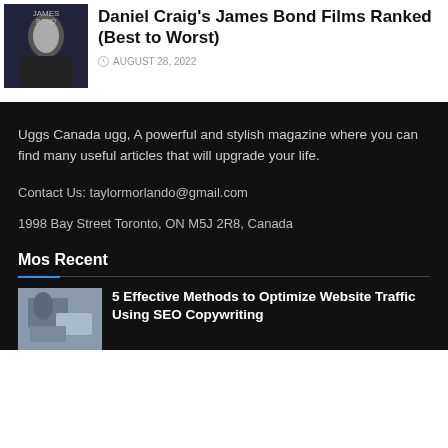[Figure (photo): Thumbnail image of Daniel Craig as James Bond]
Daniel Craig's James Bond Films Ranked (Best to Worst)
AUGUST 28, 2022
Uggs Canada ugg, A powerful and stylish magazine where you can find many useful articles that will upgrade your life.
Contact Us: taylormorlando@gmail.com
1998 Bay Street Toronto, ON M5J 2R8, Canada
Mos Recent
[Figure (photo): Thumbnail image for SEO Copywriting article showing person at laptop]
5 Effective Methods to Optimize Website Traffic Using SEO Copywriting